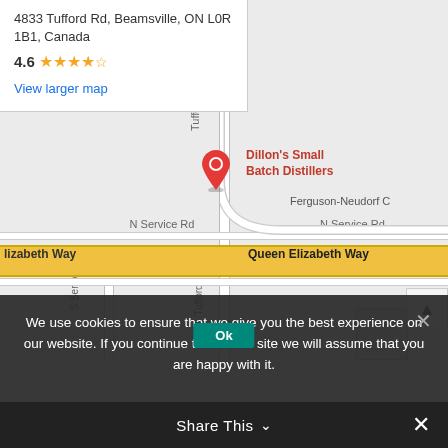[Figure (map): Google Maps screenshot showing Dillon's Small Batch Distillers location at 4833 Tufford Rd, Beamsville, ON L0R 1B1, Canada with a red pin marker. Roads visible include Tufford Rd, N Service Rd, S Service Rd, Queen Elizabeth Way, and Ferguson-Neudorf Cr.]
4833 Tufford Rd, Beamsville, ON L0R 1B1, Canada
4.6 ★★★★★
View larger map
We use cookies to ensure that we give you the best experience on our website. If you continue to use this site we will assume that you are happy with it.
Ok
Share This ∨